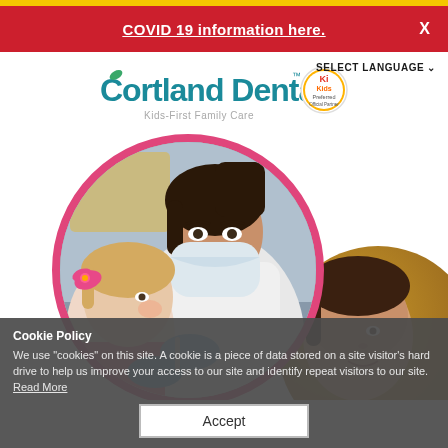COVID 19 information here.  X
[Figure (logo): Cortland Dental Kids-First Family Care logo with Kids First badge]
[Figure (photo): Circular photo of a dentist wearing a mask and blue gloves treating a young child with pink hair bow. Second partially visible circle showing a child's face on the right side.]
Cookie Policy
We use "cookies" on this site. A cookie is a piece of data stored on a site visitor's hard drive to help us improve your access to our site and identify repeat visitors to our site.
Read More
Accept